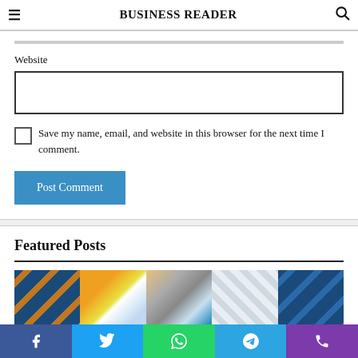BUSINESS READER
Website
Save my name, email, and website in this browser for the next time I comment.
Post Comment
Featured Posts
[Figure (photo): Strip of featured post thumbnail images]
Social share bar: Facebook, Twitter, WhatsApp, Telegram, Phone